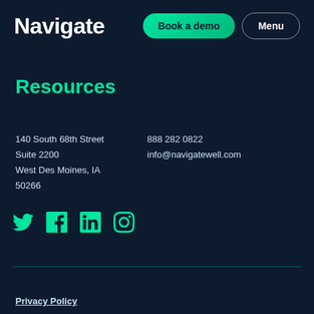Navigate
Book a demo
Menu
Resources
140 South 68th Street
Suite 2200
West Des Moines, IA
50266
888 282 0822
info@navigatewell.com
[Figure (illustration): Social media icons: Twitter, Facebook, LinkedIn, Instagram in teal/green color]
Privacy Policy